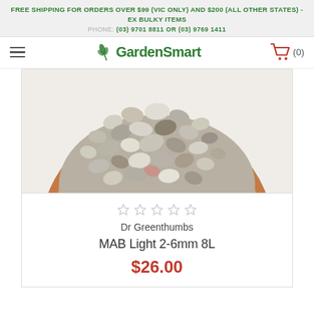FREE SHIPPING FOR ORDERS OVER $99 (VIC ONLY) AND $200 (ALL OTHER STATES) - EX BULKY ITEMS
PHONE: (03) 9701 8811 OR (03) 9769 1411
GardenSmart
[Figure (photo): A terracotta bowl filled with small gravel/perlite stones of mixed grey, white, and brown colors (MAB Light 2-6mm). View from above showing the top portion of the bowl against a white background.]
Dr Greenthumbs
MAB Light 2-6mm 8L
$26.00